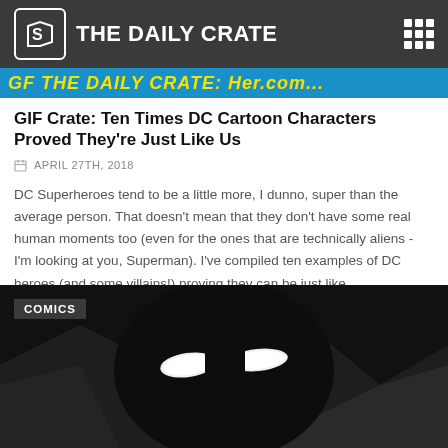THE DAILY CRATE
[Figure (screenshot): Blue banner strip with yellow italic text partially visible, likely an advertisement or site banner strip]
GIF Crate: Ten Times DC Cartoon Characters Proved They're Just Like Us
APRIL 27TH, 2018
DC Superheroes tend to be a little more, I dunno, super than the average person. That doesn't mean that they don't have some real human moments too (even for the ones that are technically aliens - I'm looking at you, Superman). I've compiled ten examples of DC heroes (and some villains!) proving they can be just like...
[Figure (photo): Dark black and white close-up photo of Batman cartoon character with glowing white eye slits from Batman: The Animated Series, with a COMICS label tag in upper left corner]